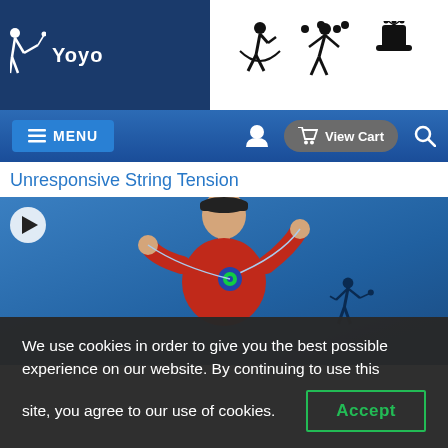Yoyo [navigation with yoyo, juggling, magic icons]
MENU | user icon | View Cart | search icon
Unresponsive String Tension
[Figure (screenshot): Video thumbnail of a man in a red shirt and black cap performing a yoyo trick against a blue background, with a play button icon in the top left corner and a silhouette of a yoyo player in the lower right.]
We use cookies in order to give you the best possible experience on our website. By continuing to use this site, you agree to our use of cookies. Accept